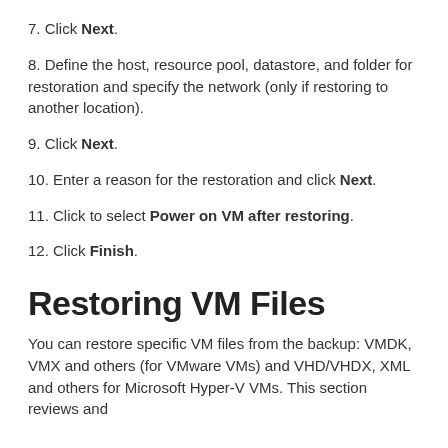7. Click Next.
8. Define the host, resource pool, datastore, and folder for restoration and specify the network (only if restoring to another location).
9. Click Next.
10. Enter a reason for the restoration and click Next.
11. Click to select Power on VM after restoring.
12. Click Finish.
Restoring VM Files
You can restore specific VM files from the backup: VMDK, VMX and others (for VMware VMs) and VHD/VHDX, XML and others for Microsoft Hyper-V VMs. This section reviews and...